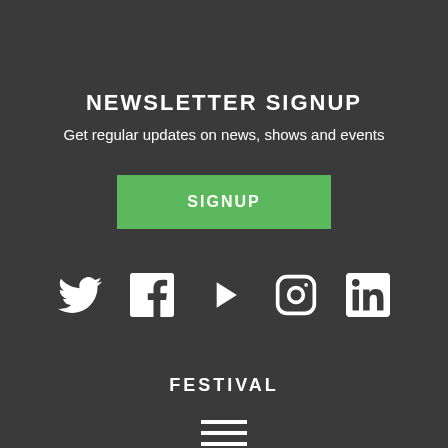NEWSLETTER SIGNUP
Get regular updates on news, shows and events
SIGNUP
[Figure (infographic): Row of social media icons: Twitter bird, Facebook F, Play button triangle, Instagram camera outline, LinkedIn 'in']
FESTIVAL
[Figure (infographic): Hamburger menu icon with three horizontal lines]